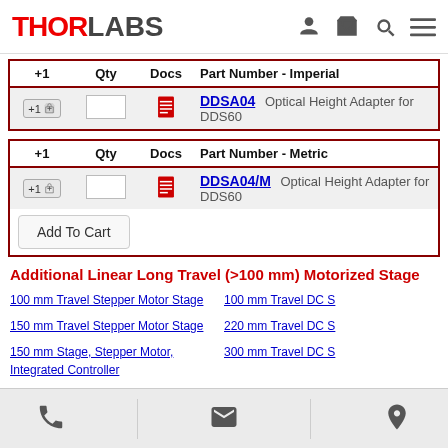THORLABS
| +1 | Qty | Docs | Part Number - Imperial |  |
| --- | --- | --- | --- | --- |
| +1 cart |  | doc | DDSA04 | Optical Height Adapter for DDS60 |
| +1 | Qty | Docs | Part Number - Metric |  |
| --- | --- | --- | --- | --- |
| +1 cart |  | doc | DDSA04/M | Optical Height Adapter for DDS60 |
Add To Cart
Additional Linear Long Travel (>100 mm) Motorized Stage
100 mm Travel Stepper Motor Stage
150 mm Travel Stepper Motor Stage
150 mm Stage, Stepper Motor, Integrated Controller
300 mm Stage, Stepper Motor, Integrated Controller
100 mm Travel DC S
220 mm Travel DC S
300 mm Travel DC S
600 mm Travel DC
Phone | Email | Location